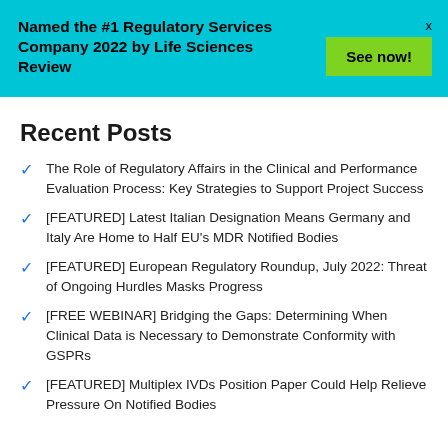Named the #1 Regulatory Services Company 2022 by Life Sciences Review
See now!
Recent Posts
The Role of Regulatory Affairs in the Clinical and Performance Evaluation Process: Key Strategies to Support Project Success
[FEATURED] Latest Italian Designation Means Germany and Italy Are Home to Half EU's MDR Notified Bodies
[FEATURED] European Regulatory Roundup, July 2022: Threat of Ongoing Hurdles Masks Progress
[FREE WEBINAR] Bridging the Gaps: Determining When Clinical Data is Necessary to Demonstrate Conformity with GSPRs
[FEATURED] Multiplex IVDs Position Paper Could Help Relieve Pressure On Notified Bodies